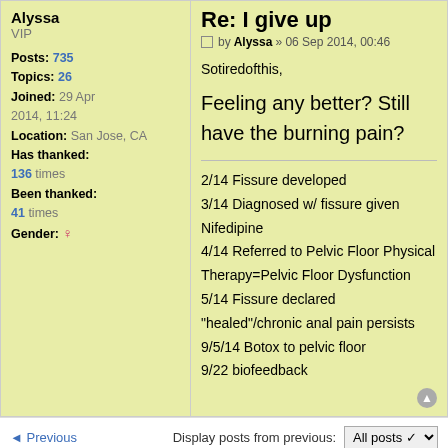Alyssa
VIP
Posts: 735
Topics: 26
Joined: 29 Apr 2014, 11:24
Location: San Jose, CA
Has thanked: 136 times
Been thanked: 41 times
Gender: ♀
Re: I give up
by Alyssa » 06 Sep 2014, 00:46
Sotiredofthis,

Feeling any better? Still have the burning pain?

2/14 Fissure developed
3/14 Diagnosed w/ fissure given Nifedipine
4/14 Referred to Pelvic Floor Physical Therapy=Pelvic Floor Dysfunction
5/14 Fissure declared "healed"/chronic anal pain persists
9/5/14 Botox to pelvic floor
9/22 biofeedback
◄ Previous   Display posts from previous: All posts ▾   Sort by Post time ▾   Ascending ▾   Go
post reply
22 posts • Page 3 of 3 •   1   2   3
SIMILAR TOPICS   REPLIES   VIEWS